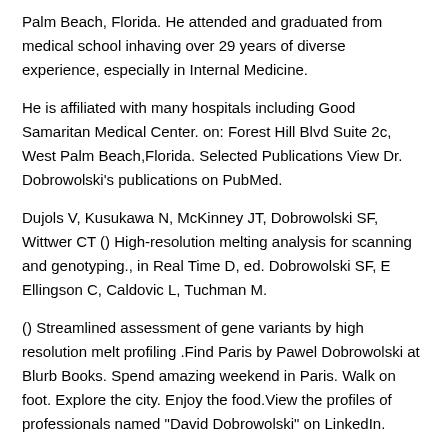Palm Beach, Florida. He attended and graduated from medical school inhaving over 29 years of diverse experience, especially in Internal Medicine.
He is affiliated with many hospitals including Good Samaritan Medical Center. on: Forest Hill Blvd Suite 2c, West Palm Beach,Florida. Selected Publications View Dr. Dobrowolski's publications on PubMed.
Dujols V, Kusukawa N, McKinney JT, Dobrowolski SF, Wittwer CT () High-resolution melting analysis for scanning and genotyping., in Real Time D, ed. Dobrowolski SF, E Ellingson C, Caldovic L, Tuchman M.
() Streamlined assessment of gene variants by high resolution melt profiling .Find Paris by Pawel Dobrowolski at Blurb Books. Spend amazing weekend in Paris. Walk on foot. Explore the city. Enjoy the food.View the profiles of professionals named "David Dobrowolski" on LinkedIn.
There are 10+ professionals named "David Dobrowolski", who use LinkedIn to .